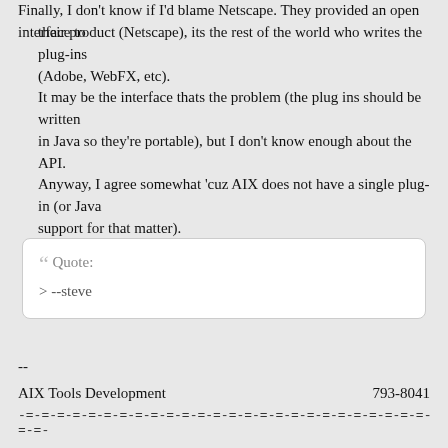Finally, I don't know if I'd blame Netscape. They provided an open interface to
their product (Netscape), its the rest of the world who writes the plug-ins (Adobe, WebFX, etc).
It may be the interface thats the problem (the plug ins should be written in Java so they're portable), but I don't know enough about the API.
Anyway, I agree somewhat 'cuz AIX does not have a single plug-in (or Java support for that matter).
Jim O'Quinn
““ Quote:
> --steve
--
AIX Tools Development                    793-8041
-=-=-=-=-=-=-=-=-=-=-=-=-=-=-=-=-=-=-=-=-=-=-=-=-=-=-=-=-=-=-=-=-=-=-=
=-=-